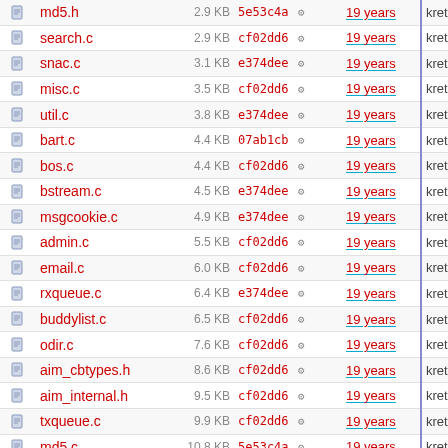|  | Name | Size | Hash | Age | Author | Message |
| --- | --- | --- | --- | --- | --- | --- |
|  | md5.h | 2.9 KB | 5e53c4a | 19 years | kretch | *** empt |
|  | search.c | 2.9 KB | cf02dd6 | 19 years | kretch | *** empt |
|  | snac.c | 3.1 KB | e374dee | 19 years | kretch | *** empt |
|  | misc.c | 3.5 KB | cf02dd6 | 19 years | kretch | *** empt |
|  | util.c | 3.8 KB | e374dee | 19 years | kretch | *** empt |
|  | bart.c | 4.4 KB | 07ab1cb | 19 years | kretch | Reverte |
|  | bos.c | 4.4 KB | cf02dd6 | 19 years | kretch | *** empt |
|  | bstream.c | 4.5 KB | e374dee | 19 years | kretch | *** empt |
|  | msgcookie.c | 4.9 KB | e374dee | 19 years | kretch | *** empt |
|  | admin.c | 5.5 KB | cf02dd6 | 19 years | kretch | *** empt |
|  | email.c | 6.0 KB | cf02dd6 | 19 years | kretch | *** empt |
|  | rxqueue.c | 6.4 KB | e374dee | 19 years | kretch | *** empt |
|  | buddylist.c | 6.5 KB | cf02dd6 | 19 years | kretch | *** empt |
|  | odir.c | 7.6 KB | cf02dd6 | 19 years | kretch | *** empt |
|  | aim_cbtypes.h | 8.6 KB | cf02dd6 | 19 years | kretch | *** empt |
|  | aim_internal.h | 9.5 KB | cf02dd6 | 19 years | kretch | *** empt |
|  | txqueue.c | 9.9 KB | cf02dd6 | 19 years | kretch | *** empt |
|  | md5.c | 10.8 KB | 5e53c4a | 19 years | kretch | *** empt |
|  | chatnav.c | 11.3 KB | cf02dd6 | 19 years | kretch | *** empt |